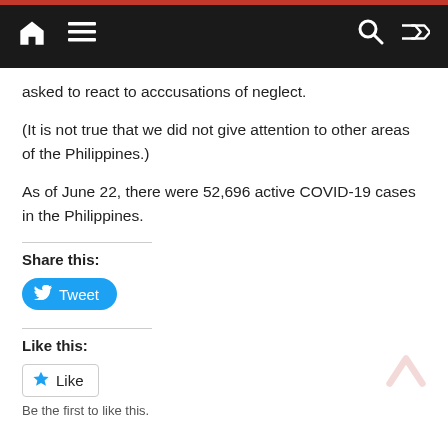Navigation bar with home, menu, search, and shuffle icons
asked to react to acccusations of neglect.
(It is not true that we did not give attention to other areas of the Philippines.)
As of June 22, there were 52,696 active COVID-19 cases in the Philippines.
Share this:
[Figure (screenshot): Tweet button (Twitter share button with bird icon)]
Like this:
[Figure (screenshot): Like button with star icon]
Be the first to like this.